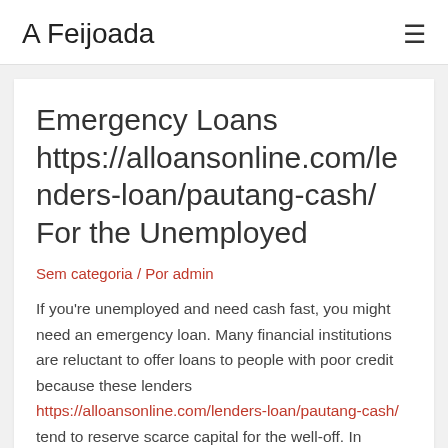A Feijoada
Emergency Loans https://alloansonline.com/lenders-loan/pautang-cash/ For the Unemployed
Sem categoria / Por admin
If you're unemployed and need cash fast, you might need an emergency loan. Many financial institutions are reluctant to offer loans to people with poor credit because these lenders https://alloansonline.com/lenders-loan/pautang-cash/ tend to reserve scarce capital for the well-off. In addition, with the collapse of the Sub-Prime Mortgage Crisis,